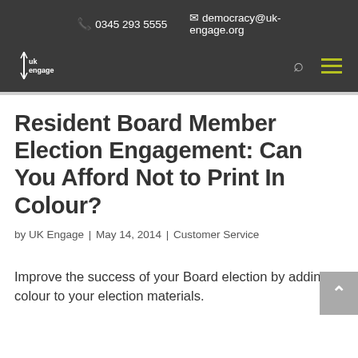📞 0345 293 5555   ✉ democracy@uk-engage.org
[Figure (logo): UK Engage logo — white text on dark background with vertical graphic mark]
Resident Board Member Election Engagement: Can You Afford Not to Print In Colour?
by UK Engage | May 14, 2014 | Customer Service
Improve the success of your Board election by adding colour to your election materials.